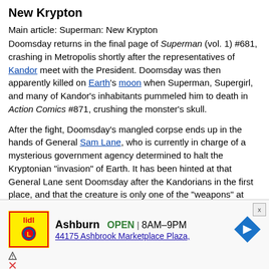New Krypton
Main article: Superman: New Krypton
Doomsday returns in the final page of Superman (vol. 1) #681, crashing in Metropolis shortly after the representatives of Kandor meet with the President. Doomsday was then apparently killed on Earth's moon when Superman, Supergirl, and many of Kandor's inhabitants pummeled him to death in Action Comics #871, crushing the monster's skull.
After the fight, Doomsday's mangled corpse ends up in the hands of General Sam Lane, who is currently in charge of a mysterious government agency determined to halt the Kryptonian "invasion" of Earth. It has been hinted at that General Lane sent Doomsday after the Kandorians in the first place, and that the creature is only one of the "weapons" at Lane's disposal. General Lane puts Lex Luthor to work on apparently "improving" Doomsday who, by the end of Ne
[Figure (infographic): Advertisement banner showing Lidl store logo, Ashburn location OPEN 8AM-9PM, address 44175 Ashbrook Marketplace Plaza, with navigation arrow icon and ad attribution icons]